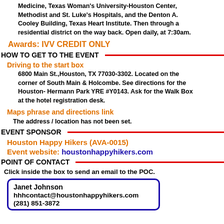Medicine, Texas Woman's University-Houston Center, Methodist and St. Luke's Hospitals, and the Denton A. Cooley Building, Texas Heart Institute. Then through a residential district on the way back. Open daily, at 7:30am.
Awards: IVV CREDIT ONLY
HOW TO GET TO THE EVENT
Driving to the start box
6800 Main St.,Houston, TX 77030-3302. Located on the corner of South Main & Holcombe. See directions for the Houston- Hermann Park YRE #Y0143. Ask for the Walk Box at the hotel registration desk.
Maps phrase and directions link
The address / location has not been set.
EVENT SPONSOR
Houston Happy Hikers (AVA-0015)
Event website: houstonhappyhikers.com
POINT OF CONTACT
Click inside the box to send an email to the POC.
Janet Johnson
hhhcontact@houstonhappyhikers.com
(281) 851-3872